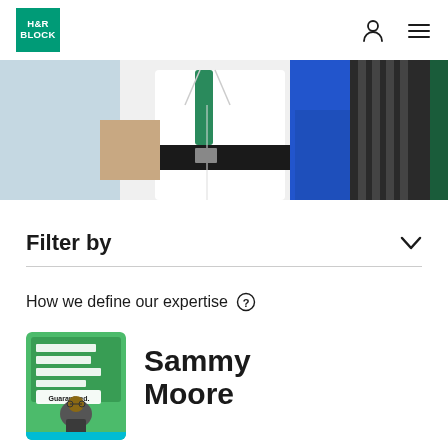H&R Block
[Figure (photo): Two people in business attire — one wearing a blue blazer, one in a white shirt with a green tie — photographed from mid-torso down against a dark green background.]
Filter by
How we define our expertise
[Figure (photo): Thumbnail image of Sammy Moore on a green H&R Block advertisement background that reads 'No one gets you more than Block. Guaranteed.']
Sammy Moore